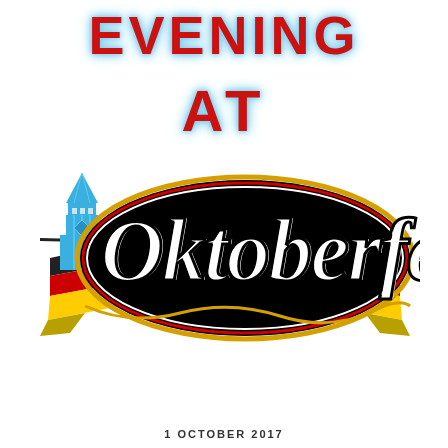EVENING
AT
[Figure (logo): Oktoberfest logo with black oval containing gothic 'Oktoberfest' text in white, outlined in gold/red, with German flag ribbon banners (black, red, gold) on left and right sides, and a blue church/tower icon on the left]
1 OCTOBER 2017